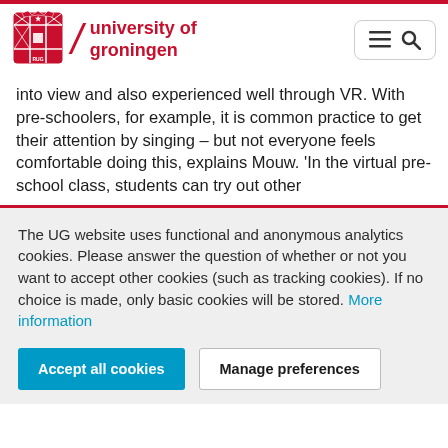university of groningen
into view and also experienced well through VR. With pre-schoolers, for example, it is common practice to get their attention by singing – but not everyone feels comfortable doing this, explains Mouw. 'In the virtual pre-school class, students can try out other
The UG website uses functional and anonymous analytics cookies. Please answer the question of whether or not you want to accept other cookies (such as tracking cookies). If no choice is made, only basic cookies will be stored. More information
Accept all cookies
Manage preferences